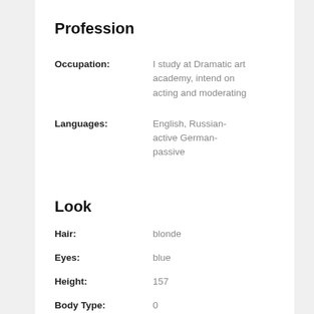Profession
Occupation: I study at Dramatic art academy, intend on acting and moderating
Languages: English, Russian- active German- passive
Look
Hair: blonde
Eyes: blue
Height: 157
Body Type: 0